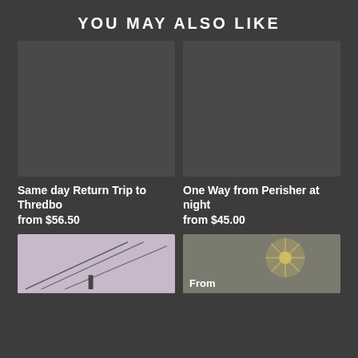YOU MAY ALSO LIKE
[Figure (photo): Placeholder grey image for Same day Return Trip to Thredbo]
Same day Return Trip to Thredbo
from $56.50
[Figure (photo): Placeholder grey image for One Way from Perisher at night]
One Way from Perisher at night
from $45.00
[Figure (photo): Photo showing cable car or ski lift infrastructure against a purple sky]
[Figure (photo): Photo showing fireworks or sparkler plant at night]